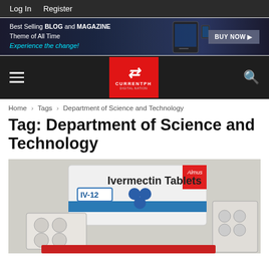Log In   Register
[Figure (screenshot): Advertisement banner: Best Selling BLOG and MAGAZINE Theme of All Time, Experience the change! with BUY NOW button and tablet device image]
[Figure (logo): CurrentPH logo - red square with stylized Z icon and CURRENTPH text]
Home › Tags › Department of Science and Technology
Tag: Department of Science and Technology
[Figure (photo): Photo of Ivermectin Tablets IV-12 medication boxes and blister packs scattered on a surface]